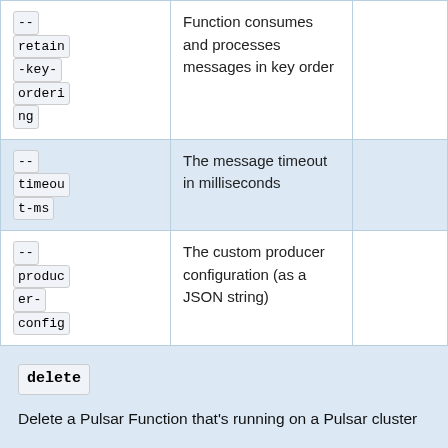| Flag | Description |  |
| --- | --- | --- |
| --
retain-key-ordering | Function consumes and processes messages in key order |  |
| --
timeout-ms | The message timeout in milliseconds |  |
| --
producer-config | The custom producer configuration (as a JSON string) |  |
delete
Delete a Pulsar Function that's running on a Pulsar cluster